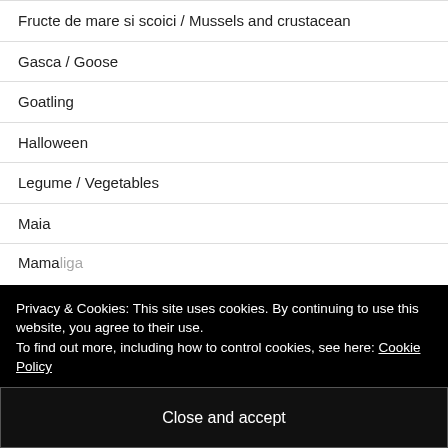Fructe de mare si scoici / Mussels and crustacean
Gasca / Goose
Goatling
Halloween
Legume / Vegetables
Maia
Mamaliga
Privacy & Cookies: This site uses cookies. By continuing to use this website, you agree to their use.
To find out more, including how to control cookies, see here: Cookie Policy
Close and accept
Paste / Pasta